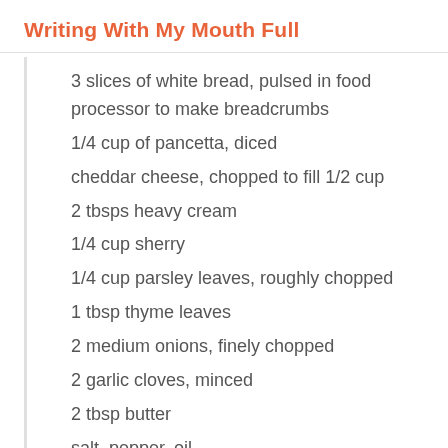Writing With My Mouth Full
3 slices of white bread, pulsed in food processor to make breadcrumbs
1/4 cup of pancetta, diced
cheddar cheese, chopped to fill 1/2 cup
2 tbsps heavy cream
1/4 cup sherry
1/4 cup parsley leaves, roughly chopped
1 tbsp thyme leaves
2 medium onions, finely chopped
2 garlic cloves, minced
2 tbsp butter
salt, pepper, oil